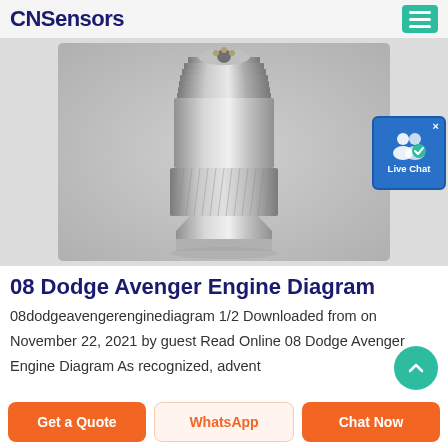CNSensors
[Figure (photo): Silver metallic threaded sensor connector with knurled body and male pin connector at top, photographed on grey background]
[Figure (screenshot): Live Chat widget button with user icon and blue background]
08 Dodge Avenger Engine Diagram
08dodgeavengerenginediagram 1/2 Downloaded from on November 22, 2021 by guest Read Online 08 Dodge Avenger Engine Diagram As recognized, advent